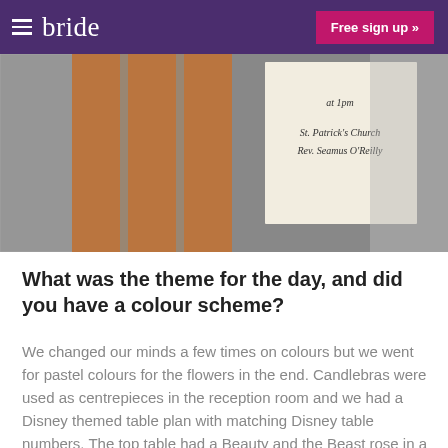bride | Free sign up »
[Figure (photo): Photo of shimmer ribbon bookmarks/favors next to a white wedding invitation card reading 'at 1pm, St. Patrick's Church, Rev. Seamus O'Reilly', on a lace background]
What was the theme for the day, and did you have a colour scheme?
We changed our minds a few times on colours but we went for pastel colours for the flowers in the end. Candlebras were used as centrepieces in the reception room and we had a Disney themed table plan with matching Disney table numbers. The top table had a Beauty and the Beast rose in a snow globe which everyone admired and Mathew and I had King and Queen thrones. Gems and mini red hearts were scattered on all tables.